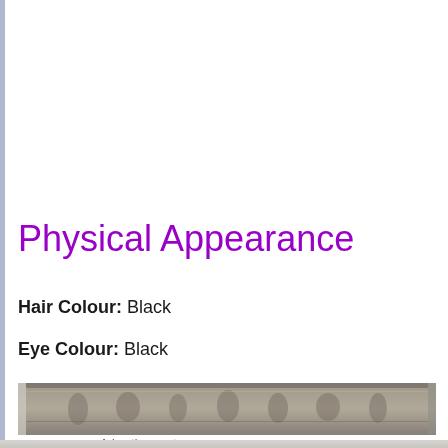Physical Appearance
Hair Colour: Black
Eye Colour: Black
[Figure (photo): A grayscale photograph showing what appears to be a carved stone relief or frieze in the upper portion, and a faded portrait of a person in the lower portion.]
Advertisement